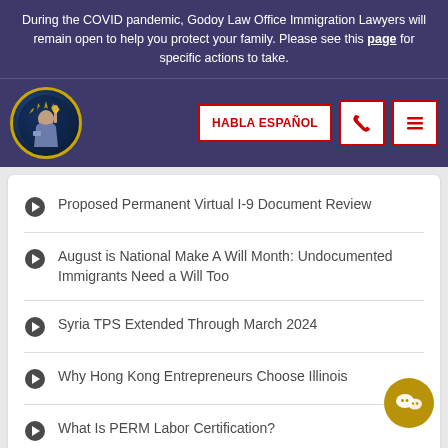During the COVID pandemic, Godoy Law Office Immigration Lawyers will remain open to help you protect your family. Please see this page for specific actions to take.
[Figure (logo): Godoy Law Office circular logo with Statue of Liberty illustration]
Proposed Permanent Virtual I-9 Document Review
August is National Make A Will Month: Undocumented Immigrants Need a Will Too
Syria TPS Extended Through March 2024
Why Hong Kong Entrepreneurs Choose Illinois
What Is PERM Labor Certification?